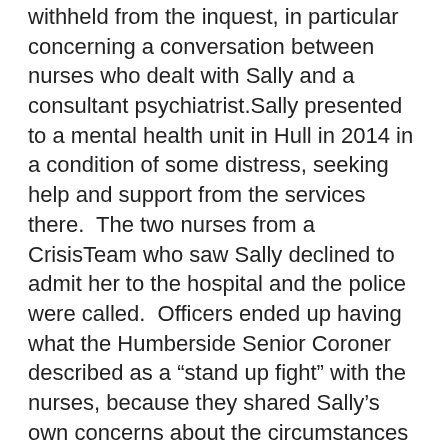withheld from the inquest, in particular concerning a conversation between nurses who dealt with Sally and a consultant psychiatrist.Sally presented to a mental health unit in Hull in 2014 in a condition of some distress, seeking help and support from the services there.  The two nurses from a CrisisTeam who saw Sally declined to admit her to the hospital and the police were called.  Officers ended up having what the Humberside Senior Coroner described as a “stand up fight” with the nurses, because they shared Sally’s own concerns about the circumstances and her mental well-being.  Having been unable to persuade a different course, officers brought Sally away with them and reluctantly walked away.  They took Sally home, did the best they could and she subsequently died by suicide, not helped by a delay in the ambulance response when she was found.
In a blog on the Serjeant’s Inn website, Emily Chappell noted “the Senior Coroner was excoriating in his criticisms of the refusal to admit Sally, describing it as an “illogical